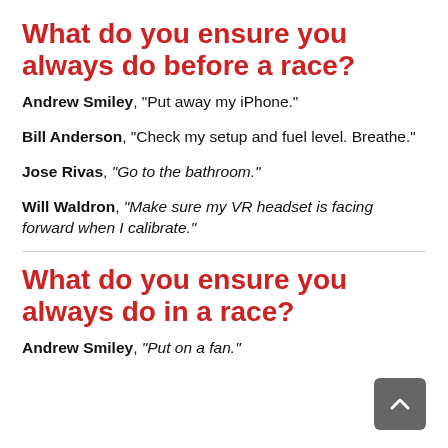What do you ensure you always do before a race?
Andrew Smiley, "Put away my iPhone."
Bill Anderson, "Check my setup and fuel level. Breathe."
Jose Rivas, "Go to the bathroom."
Will Waldron, "Make sure my VR headset is facing forward when I calibrate."
What do you ensure you always do in a race?
Andrew Smiley, "Put on a fan."